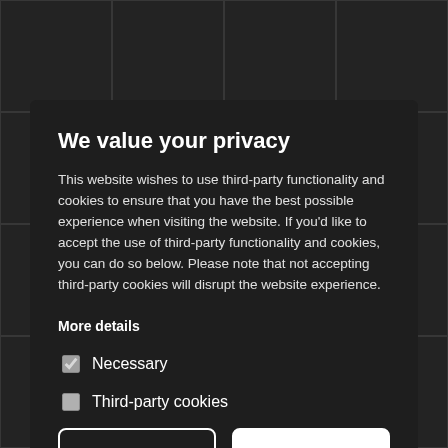[Figure (screenshot): Dark background with a grid of thumbnail images]
We value your privacy
This website wishes to use third-party functionality and cookies to ensure that you have the best possible experience when visiting the website. If you'd like to accept the use of third-party functionality and cookies, you can do so below. Please note that not accepting third-party cookies will disrupt the website experience.
More details
Necessary
Third-party cookies
Accept selected | Accept all